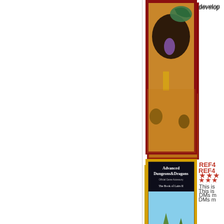[Figure (illustration): Book cover of an AD&D module showing fantasy artwork with a dragon and adventurers in a cave setting, red border]
develop
[Figure (illustration): Advanced Dungeons & Dragons 'The Book of Lairs' cover with adventurers crossing a waterfall bridge, orange/yellow border]
REF4
★★★
This is
DMs m
[Figure (illustration): Dungeons & Dragons Monstrous Arcana 'Sea of Blood' cover showing a creature with tentacles, dark brown cover]
Sea o
★★★
"Every
in whis